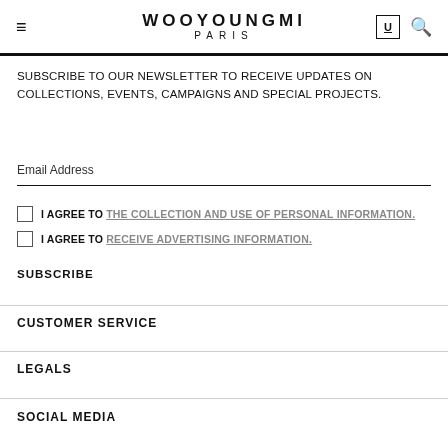WOOYOUNGMI PARIS
SUBSCRIBE TO OUR NEWSLETTER TO RECEIVE UPDATES ON COLLECTIONS, EVENTS, CAMPAIGNS AND SPECIAL PROJECTS.
Email Address
I AGREE TO THE COLLECTION AND USE OF PERSONAL INFORMATION.
I AGREE TO RECEIVE ADVERTISING INFORMATION.
SUBSCRIBE
CUSTOMER SERVICE
LEGALS
SOCIAL MEDIA